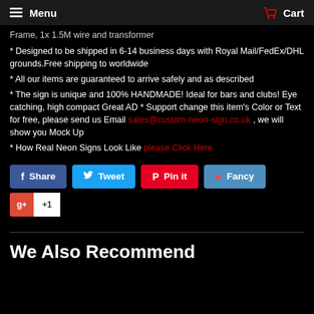Menu   Cart
Frame, 1x 1.5M wire and transformer
* Designed to be shipped in 6-14 business days with Royal Mail/FedEx/DHL grounds.Free shipping to worldwide
* All our items are guaranteed to arrive safely and as described
* The sign is unique and 100% HANDMADE! Ideal for bars and clubs! Eye catching, high compact Great AD * Support change this item's Color or Text for free, please send us Email sales@custom-neon-sign.co.uk , we will show you Mock Up
* How Real Neon Signs Look Like please Click Here
[Figure (other): Social sharing buttons: Share (Facebook blue), Tweet (Twitter cyan), Pin it (Pinterest red), Fancy (blue), and Google +1 button]
We Also Recommend